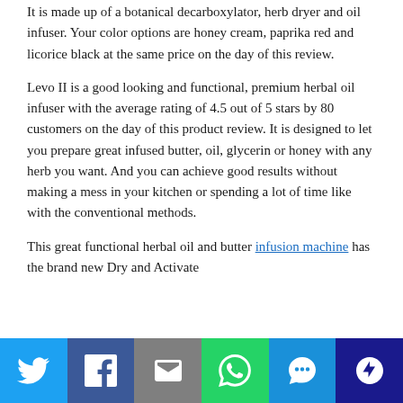It is made up of a botanical decarboxylator, herb dryer and oil infuser. Your color options are honey cream, paprika red and licorice black at the same price on the day of this review.
Levo II is a good looking and functional, premium herbal oil infuser with the average rating of 4.5 out of 5 stars by 80 customers on the day of this product review. It is designed to let you prepare great infused butter, oil, glycerin or honey with any herb you want. And you can achieve good results without making a mess in your kitchen or spending a lot of time like with the conventional methods.
This great functional herbal oil and butter infusion machine has the brand new Dry and Activate
[Figure (other): Social sharing bar with buttons for Twitter, Facebook, Email, WhatsApp, SMS, and More]